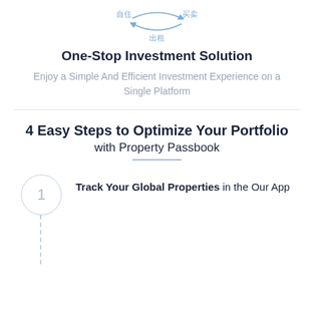[Figure (illustration): Circular diagram with Chinese characters showing 自住 (own use), 买卖 (buy/sell), and 出租 (rent), arranged in a cycle with arrows]
One-Stop Investment Solution
Enjoy a Simple And Efficient Investment Experience on a Single Platform
4 Easy Steps to Optimize Your Portfolio with Property Passbook
Track Your Global Properties in the Our App